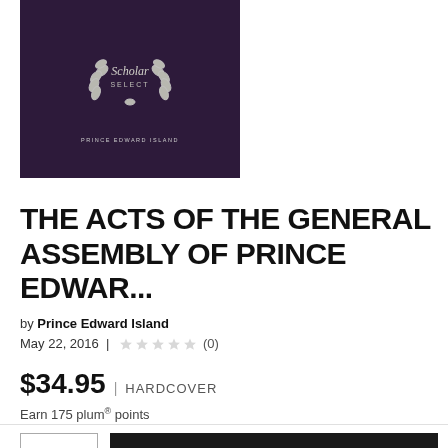[Figure (illustration): Book cover with dark purple background, Scholar Select laurel wreath logo in silver, and text 'PRINCE EDWARD ISLAND' at the bottom]
THE ACTS OF THE GENERAL ASSEMBLY OF PRINCE EDWAR...
by Prince Edward Island
May 22, 2016 | ★★★★★ (0)
$34.95 | HARDCOVER
Earn 175 plum® points